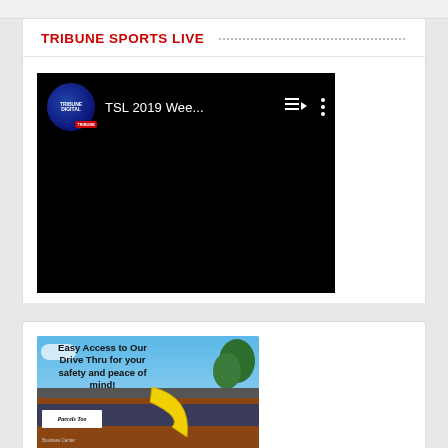TRIBUNE SPORTS LIVE
[Figure (screenshot): YouTube video player showing 'TSL 2019 Wee...' with Tribune Digital channel icon, playlist and options icons on black background]
[Figure (photo): Advertisement for Parcels Too Business Center showing a drive-thru building with text 'Easy Access to Our Drive Thru for your safety and peace of mind!' and yellow arrow]